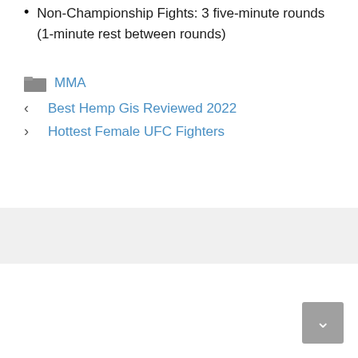Non-Championship Fights: 3 five-minute rounds (1-minute rest between rounds)
MMA
Best Hemp Gis Reviewed 2022
Hottest Female UFC Fighters